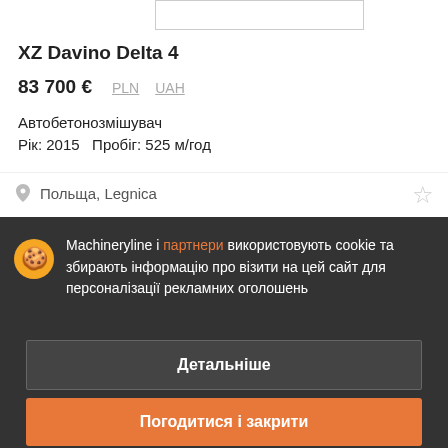[Figure (other): Image placeholder/thumbnail box at top of listing]
XZ Davino Delta 4
83 700 €  PLN  UAH
Автобетонозмішувач
Рік: 2015   Пробіг: 525 м/год
Польща, Legnica
Machineryline і партнери використовують cookie та збирають інформацію про візити на цей сайт для персоналізації рекламних оголошень
Детальніше
Погодитися і закрити